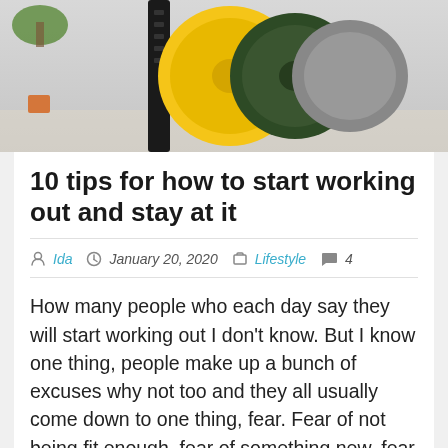[Figure (photo): Photo of gym weight plates on a rack, showing yellow and green/dark weight plates on a black bar, with a plant and wall in the background]
10 tips for how to start working out and stay at it
Ida  January 20, 2020  Lifestyle  4
How many people who each day say they will start working out I don't know. But I know one thing, people make up a bunch of excuses why not too and they all usually come down to one thing, fear. Fear of not being fit enough, fear of something new, fear of other people